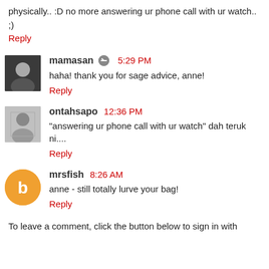physically.. :D no more answering ur phone call with ur watch.. ;)
Reply
mamasan 5:29 PM
haha! thank you for sage advice, anne!
Reply
ontahsapo 12:36 PM
"answering ur phone call with ur watch" dah teruk ni....
Reply
mrsfish 8:26 AM
anne - still totally lurve your bag!
Reply
To leave a comment, click the button below to sign in with